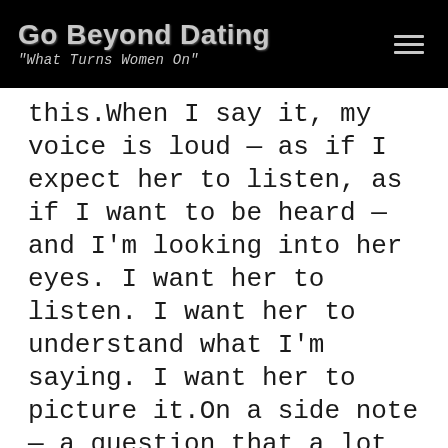Go Beyond Dating
"What Turns Women On"
this.When I say it, my voice is loud — as if I expect her to listen, as if I want to be heard — and I'm looking into her eyes. I want her to listen. I want her to understand what I'm saying. I want her to picture it.On a side note — a question that a lot of guys ask is how close you should stand with a woman. Here is the answer. YOU want to stand